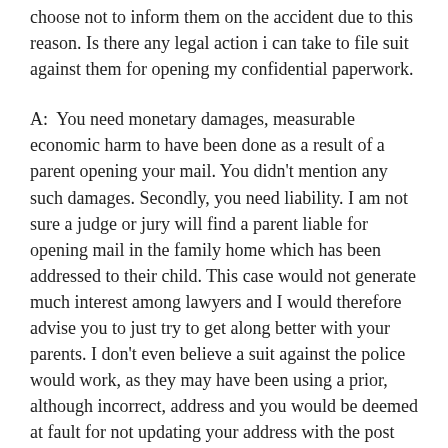choose not to inform them on the accident due to this reason. Is there any legal action i can take to file suit against them for opening my confidential paperwork.
A:  You need monetary damages, measurable economic harm to have been done as a result of a parent opening your mail. You didn't mention any such damages. Secondly, you need liability. I am not sure a judge or jury will find a parent liable for opening mail in the family home which has been addressed to their child. This case would not generate much interest among lawyers and I would therefore advise you to just try to get along better with your parents. I don't even believe a suit against the police would work, as they may have been using a prior, although incorrect, address and you would be deemed at fault for not updating your address with the post office or Department of Motor Vehicles. In addition, the law is often forgiving of mistakes when made in good faith. You should also be aware that if you are still covered by your parent's motor vehicle insurance, most liability insurers